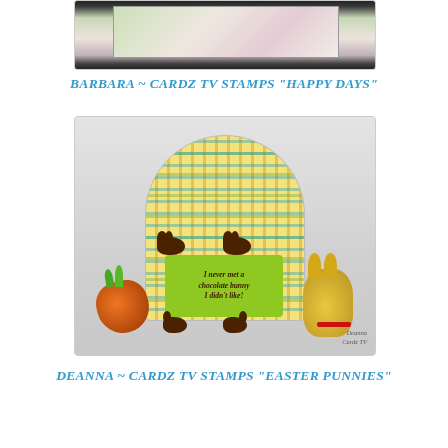[Figure (photo): Partial view of a card or craft project with floral design, dark border at top]
BARBARA ~ CARDZ TV STAMPS "HAPPY DAYS"
[Figure (photo): Easter craft project: a plaid egg-shaped card holder with chocolate bunny silhouettes and a green label reading 'I never met a chocolate bunny I didn't like!', surrounded by foil chocolate carrot and Lindt gold bunny]
DEANNA ~ CARDZ TV STAMPS "EASTER PUNNIES"